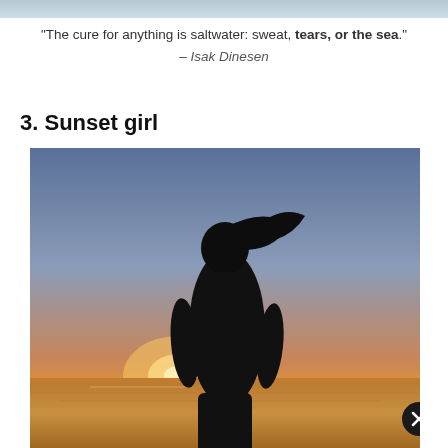[Figure (photo): Partial view of a photo at the top of the page, cropped — appears to show a person in water or beach setting, only the top portion visible.]
“The cure for anything is saltwater: sweat, tears, or the sea.”
– Isak Dinesen
3. Sunset girl
[Figure (photo): A silhouette of a woman standing on a beach at sunset, facing away from the camera. The sky shows warm orange and golden hues near the horizon blending into blue-gray above. The sun is partially visible near the horizon. The ocean is calm and reflective. A dark circular close button (X) icon is visible at the bottom-right corner of the image.]